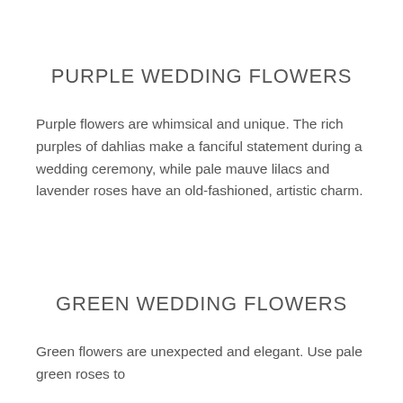PURPLE WEDDING FLOWERS
Purple flowers are whimsical and unique. The rich purples of dahlias make a fanciful statement during a wedding ceremony, while pale mauve lilacs and lavender roses have an old-fashioned, artistic charm.
GREEN WEDDING FLOWERS
Green flowers are unexpected and elegant. Use pale green roses to